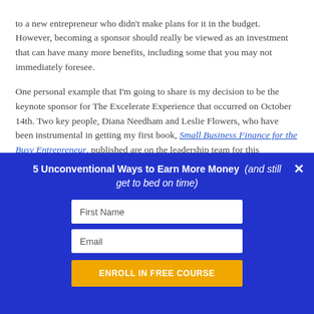to a new entrepreneur who didn't make plans for it in the budget. However, becoming a sponsor should really be viewed as an investment that can have many more benefits, including some that you may not immediately foresee.
One personal example that I'm going to share is my decision to be the keynote sponsor for The Excelerate Experience that occurred on October 14th. Two key people, Diana Needham and Leslie Flowers, who have been instrumental in getting my first book, Small Business Finance for the Busy Entrepreneur, published are on the leadership team for this
5 Unconventional Ways to Earn More Money  (and still get to bed on time)
First Name
Email
ENROLL IN FREE COURSE